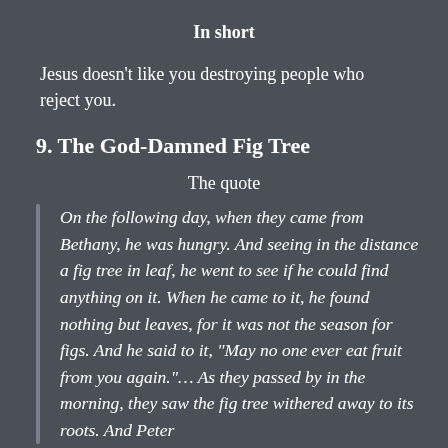In short
Jesus doesn't like you destroying people who reject you.
9. The God-Damned Fig Tree
The quote
On the following day, when they came from Bethany, he was hungry. And seeing in the distance a fig tree in leaf, he went to see if he could find anything on it. When he came to it, he found nothing but leaves, for it was not the season for figs. And he said to it, “May no one ever eat fruit from you again.”… As they passed by in the morning, they saw the fig tree withered away to its roots. And Peter